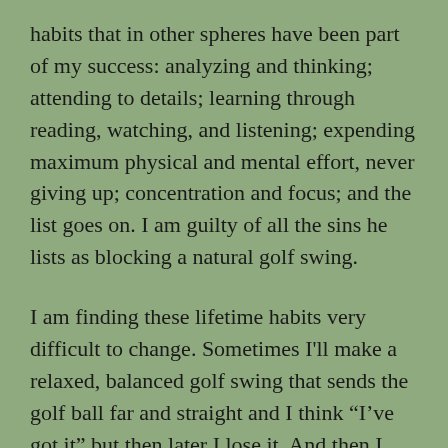habits that in other spheres have been part of my success: analyzing and thinking; attending to details; learning through reading, watching, and listening; expending maximum physical and mental effort, never giving up; concentration and focus; and the list goes on. I am guilty of all the sins he lists as blocking a natural golf swing.

I am finding these lifetime habits very difficult to change. Sometimes I'll make a relaxed, balanced golf swing that sends the golf ball far and straight and I think “I’ve got it” but then later I lose it. And then I start thinking “what happened” and begin making adjustments and I’m down the primrose path to a bad round.